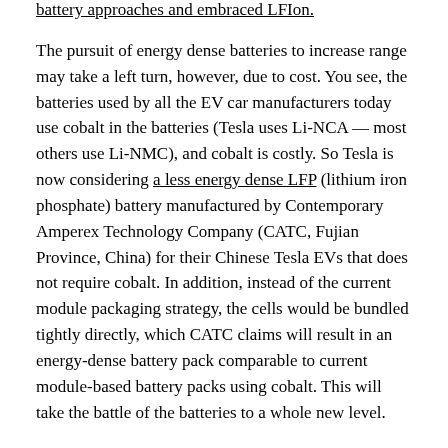battery approaches and embraced LFIon.
The pursuit of energy dense batteries to increase range may take a left turn, however, due to cost. You see, the batteries used by all the EV car manufacturers today use cobalt in the batteries (Tesla uses Li-NCA — most others use Li-NMC), and cobalt is costly. So Tesla is now considering a less energy dense LFP (lithium iron phosphate) battery manufactured by Contemporary Amperex Technology Company (CATC, Fujian Province, China) for their Chinese Tesla EVs that does not require cobalt. In addition, instead of the current module packaging strategy, the cells would be bundled tightly directly, which CATC claims will result in an energy-dense battery pack comparable to current module-based battery packs using cobalt. This will take the battle of the batteries to a whole new level.